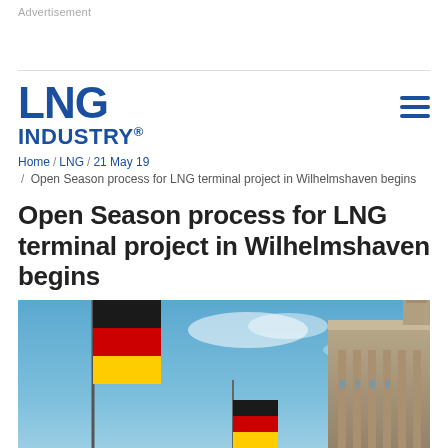Advertisement
[Figure (logo): LNG Industry logo - bold blue text 'LNG' large, 'INDUSTRY®' below]
Home / LNG / 21 May 19 / Open Season process for LNG terminal project in Wilhelmshaven begins
Open Season process for LNG terminal project in Wilhelmshaven begins
[Figure (photo): German flags waving against a blue sky in front of a historic building (Reichstag), with another German flag visible in the background]